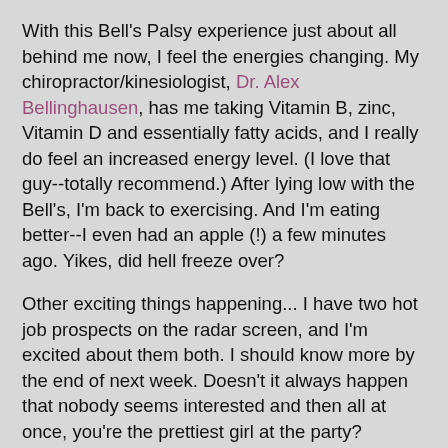With this Bell's Palsy experience just about all behind me now, I feel the energies changing.  My chiropractor/kinesiologist, Dr. Alex Bellinghausen, has me taking Vitamin B, zinc, Vitamin D and essentially fatty acids, and I really do feel an increased energy level.  (I love that guy--totally recommend.) After lying low with the Bell's, I'm back to exercising.  And I'm eating better--I even had an apple (!) a few minutes ago.  Yikes, did hell freeze over?
Other exciting things happening... I have two hot job prospects on the radar screen, and I'm excited about them both.  I should know more by the end of next week.  Doesn't it always happen that nobody seems interested and then all at once, you're the prettiest girl at the party?  Whoever makes an offer first gets me.  I won't mention that "bird in hand" saying because that's disgusting.
What else... Because of the Bell's, I haven't done a bit of comedy since my show last month in August, but I'm just about ready to get back in the saddle.  The downtime I've had in the past few weeks has allowed me to do some soul